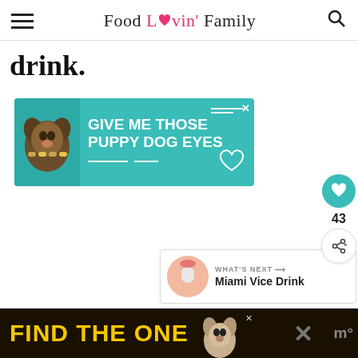Food Lovin' Family
drink.
[Figure (advertisement): Teal advertisement banner with a dog and text 'GIVE ME THOSE PUPPY DOG EYES']
[Figure (infographic): Social share sidebar with heart icon (43 likes) and share button]
[Figure (infographic): What's Next card showing Miami Vice Drink with a thumbnail image]
[Figure (advertisement): Dark bottom banner advertisement with yellow text 'FIND THE ONE' and dog image]